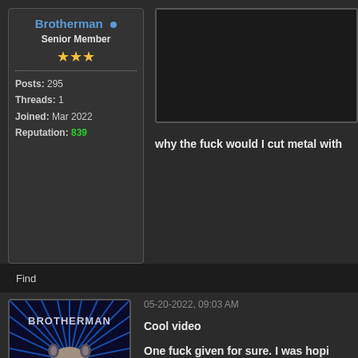Brotherman • Senior Member ★★★ Posts: 295 Threads: 1 Joined: Mar 2022 Reputation: 839
[Figure (screenshot): Embedded dark video player area]
why the fuck would I cut metal with
Find
[Figure (illustration): Brotherman avatar - badger/meerkat face on blue radial burst background with BROTHERMAN text]
05-20-2022, 09:03 AM
Cool video

One fuck given for sure. I was hopi like though